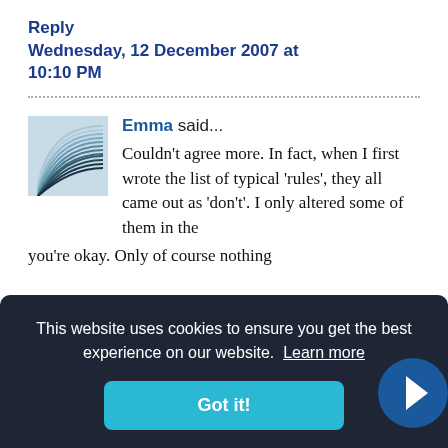Reply
Wednesday, 12 December 2007 at 10:10 PM
Emma said... Couldn't agree more. In fact, when I first wrote the list of typical 'rules', they all came out as 'don't'. I only altered some of them in the
you're okay. Only of course nothing
This website uses cookies to ensure you get the best experience on our website. Learn more
Got it!